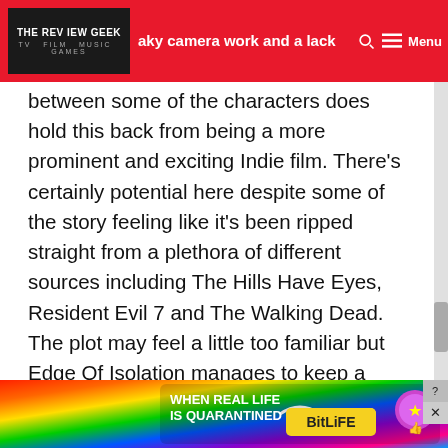THE REVIEW GEEK — Edge Of Isolation is not without its flaws. Some wonky shaky camera work and a lack of chemistry
between some of the characters does hold this back from being a more prominent and exciting Indie film. There's certainly potential here despite some of the story feeling like it's been ripped straight from a plethora of different sources including The Hills Have Eyes, Resident Evil 7 and The Walking Dead. The plot may feel a little too familiar but Edge Of Isolation manages to keep a tight grip on the tone of the film, maintaining a consistently enjoyable and tense narrative, even if the other elements of the film fall by the wayside. While there are better Indie films out there, Edge Of Isolation is certainly not terrible and deserves to be recognised simply for its tonally consistent picture even if the rest of the film could have
[Figure (infographic): Advertisement banner for BitLife game: 'When Real Life Is Quarantined' with colorful gradient background and mascot characters]